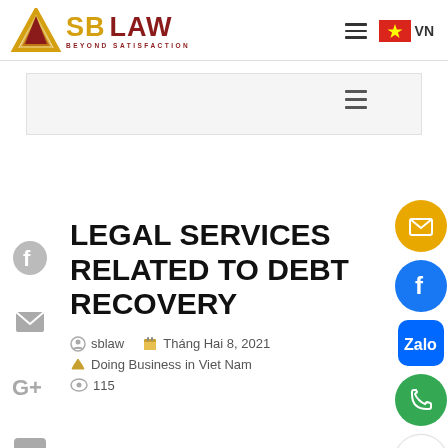[Figure (logo): SB LAW logo with triangular gold/red emblem, text SB LAW and tagline BEYOND SATISFACTION]
LEGAL SERVICES RELATED TO DEBT RECOVERY
sblaw   Tháng Hai 8, 2021
Doing Business in Viet Nam
115